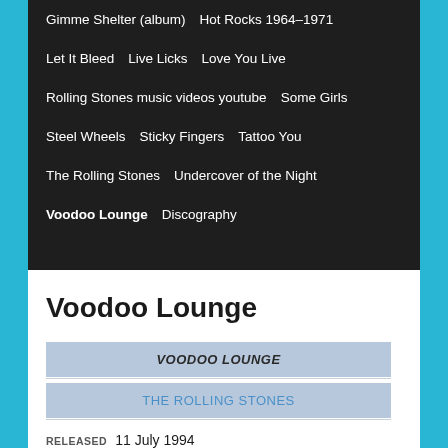Gimme Shelter (album)
Hot Rocks 1964–1971
Let It Bleed
Live Licks
Love You Live
Rolling Stones music videos youtube
Some Girls
Steel Wheels
Sticky Fingers
Tattoo You
The Rolling Stones
Undercover of the Night
Voodoo Lounge
Discography
Voodoo Lounge
VOODOO LOUNGE
THE ROLLING STONES
RELEASED  11 July 1994